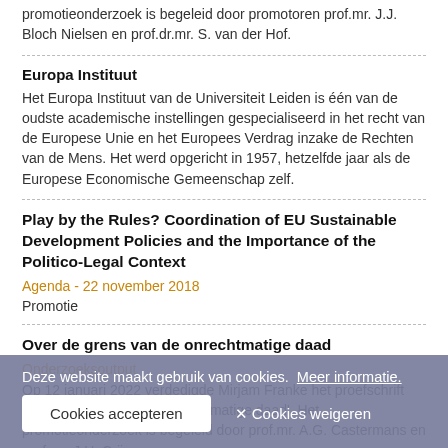promotieonderzoek is begeleid door promotoren prof.mr. J.J. Bloch Nielsen en prof.dr.mr. S. van der Hof.
Europa Instituut
Het Europa Instituut van de Universiteit Leiden is één van de oudste academische instellingen gespecialiseerd in het recht van de Europese Unie en het Europees Verdrag inzake de Rechten van de Mens. Het werd opgericht in 1957, hetzelfde jaar als de Europese Economische Gemeenschap zelf.
Play by the Rules? Coordination of EU Sustainable Development Policies and the Importance of the Politico-Legal Context
Agenda - 22 november 2018
Promotie
Over de grens van de onrechtmatige daad
Onderzoeksoutput
Op 12 januari 2022 verdedigde Mirjam Franke het proefschrift 'Over de grens van de onrechtmatige daad'. Het promotieonderzoek is begeleid door prof.mr. A.G. Castermans en prof.mr. J.H. Crijns.
Impact
Deze website maakt gebruik van cookies.  Meer informatie.
Cookies accepteren
✕ Cookies weigeren